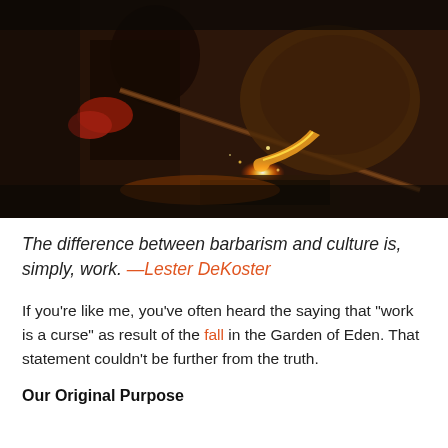[Figure (photo): A metalworker or foundry worker pouring molten metal from a large ladle or crucible. The scene is dramatically lit by the intense orange-yellow glow of the molten metal. The worker wears protective gear including gloves and a helmet with face shield.]
The difference between barbarism and culture is, simply, work. —Lester DeKoster
If you're like me, you've often heard the saying that "work is a curse" as result of the fall in the Garden of Eden. That statement couldn't be further from the truth.
Our Original Purpose
...